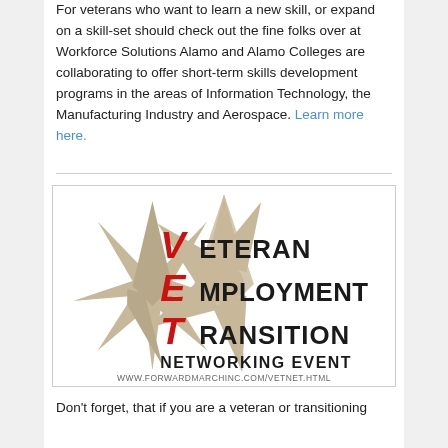For veterans who want to learn a new skill, or expand on a skill-set should check out the fine folks over at Workforce Solutions Alamo and Alamo Colleges are collaborating to offer short-term skills development programs in the areas of Information Technology, the Manufacturing Industry and Aerospace. Learn more here.
[Figure (logo): Veteran Employment Transition Networking Event logo with a tan/khaki military star shape in the background and text reading VETERAN EMPLOYMENT TRANSITION NETWORKING EVENT with letters V, E, T in red on the left side forming the acronym VET. URL: www.forwardmarchinc.com/vetnet.html]
Don't forget, that if you are a veteran or transitioning